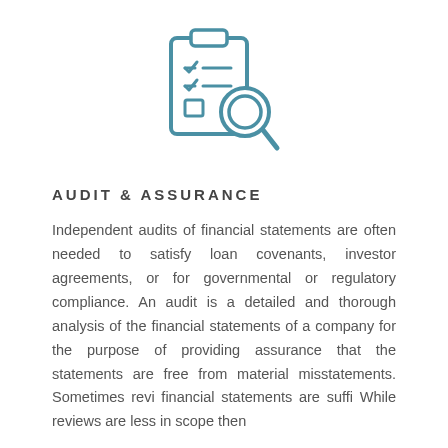[Figure (illustration): Audit/review icon: a clipboard with checkmarks and a magnifying glass, drawn in teal/blue outline style]
AUDIT & ASSURANCE
Independent audits of financial statements are often needed to satisfy loan covenants, investor agreements, or for governmental or regulatory compliance. An audit is a detailed and thorough analysis of the financial statements of a company for the purpose of providing assurance that the statements are free from material misstatements. Sometimes reviews of financial statements are sufficient. While reviews are less in scope then